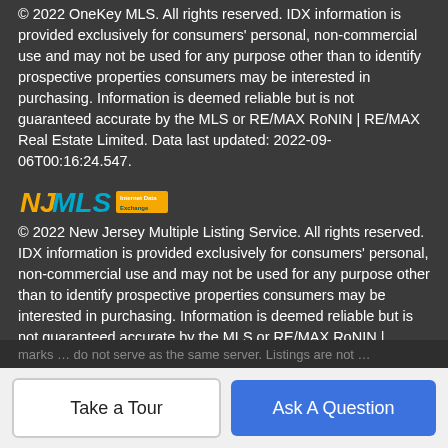© 2022 OneKey MLS. All rights reserved. IDX information is provided exclusively for consumers' personal, non-commercial use and may not be used for any purpose other than to identify prospective properties consumers may be interested in purchasing. Information is deemed reliable but is not guaranteed accurate by the MLS or RE/MAX RoNIN | RE/MAX Real Estate Limited. Data last updated: 2022-09-06T00:16:24.547.
[Figure (logo): NJMLS Internet Data Exchange logo]
© 2022 New Jersey Multiple Listing Service. All rights reserved. IDX information is provided exclusively for consumers' personal, non-commercial use and may not be used for any purpose other than to identify prospective properties consumers may be interested in purchasing. Information is deemed reliable but is not guaranteed accurate by the MLS or RE/MAX RoNIN | RE/MAX Real Estate Limited. The data relating to the real estate for sale on this web site comes in part from the Internet Data Exchange Program of the NJMLS. Real estate listings held by brokerage firms other than RE/MAX RoNIN | RE/MAX Real Estate Limited are marked with the Internet Data...